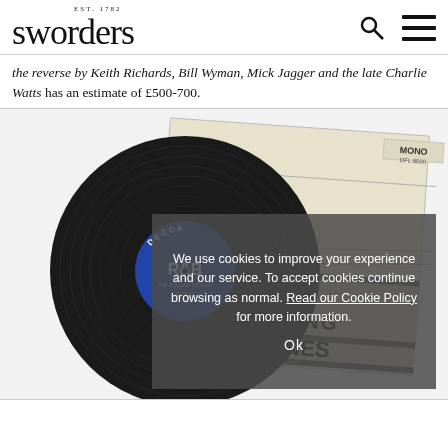sworders EST. 1782
the reverse by Keith Richards, Bill Wyman, Mick Jagger and the late Charlie Watts has an estimate of £500-700.
[Figure (photo): A vinyl 7-inch record with a blue Decca label showing 'R&B', alongside a Rolling Stones album sleeve showing 'THE ROLLING STONES' text and track listing. Both items are photographed on a white background.]
We use cookies to improve your experience and our service. To accept cookies continue browsing as normal. Read our Cookie Policy for more information.
Ok